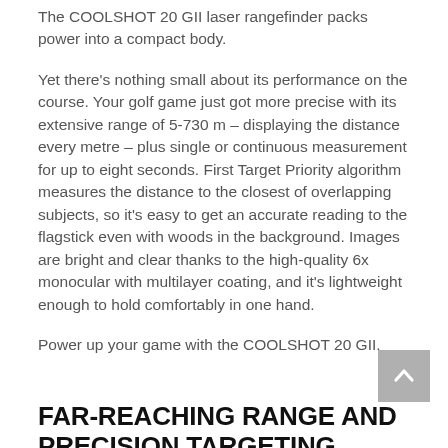The COOLSHOT 20 GII laser rangefinder packs power into a compact body.
Yet there’s nothing small about its performance on the course. Your golf game just got more precise with its extensive range of 5-730 m – displaying the distance every metre – plus single or continuous measurement for up to eight seconds. First Target Priority algorithm measures the distance to the closest of overlapping subjects, so it’s easy to get an accurate reading to the flagstick even with woods in the background. Images are bright and clear thanks to the high-quality 6x monocular with multilayer coating, and it’s lightweight enough to hold comfortably in one hand.
Power up your game with the COOLSHOT 20 GII.
FAR-REACHING RANGE AND PRECISION TARGETING
Play with confidence, knowing you can easily measur…